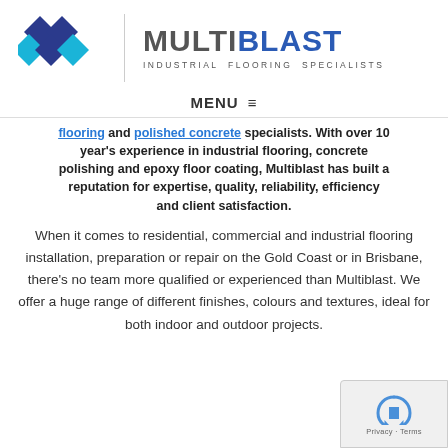[Figure (logo): Multiblast Industrial Flooring Specialists logo with diamond shapes in dark blue and cyan, a vertical divider line, and the brand name MULTIBLAST with tagline INDUSTRIAL FLOORING SPECIALISTS]
MENU ≡
flooring and polished concrete specialists. With over 10 year's experience in industrial flooring, concrete polishing and epoxy floor coating, Multiblast has built a reputation for expertise, quality, reliability, efficiency and client satisfaction.
When it comes to residential, commercial and industrial flooring installation, preparation or repair on the Gold Coast or in Brisbane, there's no team more qualified or experienced than Multiblast. We offer a huge range of different finishes, colours and textures, ideal for both indoor and outdoor projects.